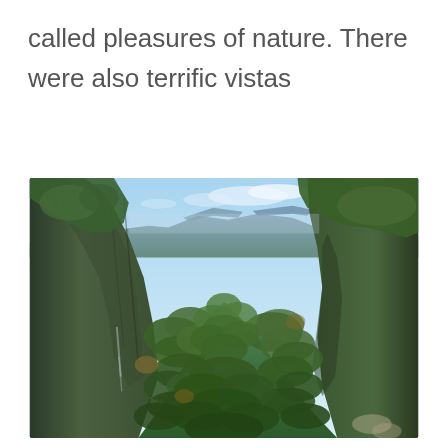called pleasures of nature. There were also terrific vistas
[Figure (photo): Aerial view of a lush green canyon with steep forested cliffs on the left and right, a deep valley covered in dense green trees in the center, rocky escarpments, and distant blue mountains under a partly cloudy sky. Appears to be an Australian wilderness landscape, likely the Blue Mountains.]